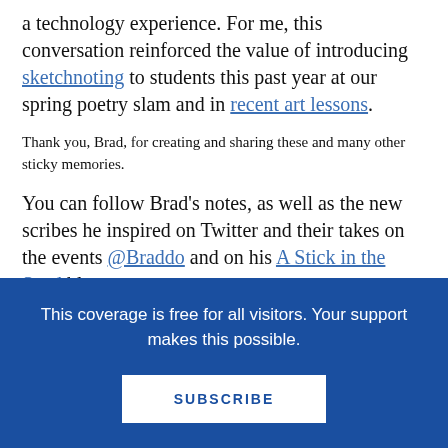a technology experience. For me, this conversation reinforced the value of introducing sketchnoting to students this past year at our spring poetry slam and in recent art lessons.
Thank you, Brad, for creating and sharing these and many other sticky memories.
You can follow Brad's notes, as well as the new scribes he inspired on Twitter and their takes on the events @Braddo and on his A Stick in the Sand blog.
Update note: Since I posted this, a few days back, Brad offered further reflection in a follow-up Twitter conversation:
This coverage is free for all visitors. Your support makes this possible.
SUBSCRIBE